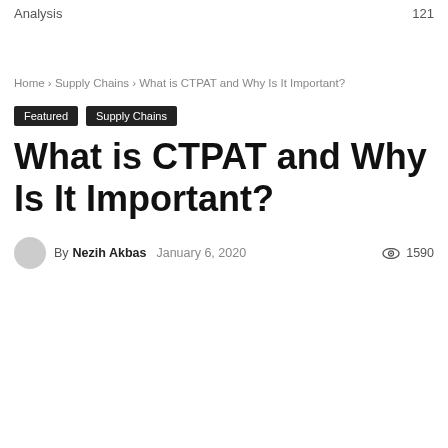Analysis   121
Home › Supply Chains › What is CTPAT and Why Is It Important?
Featured   Supply Chains
What is CTPAT and Why Is It Important?
By Nezih Akbas   January 6, 2020   1590